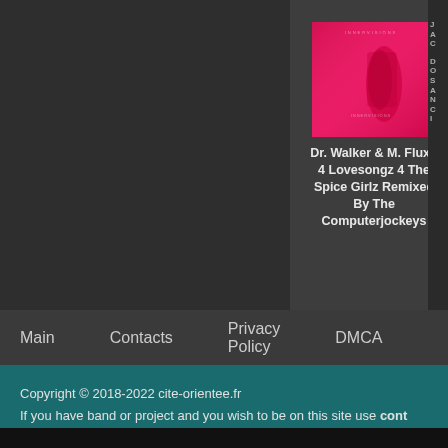[Figure (illustration): Album cover for Dr. Walker & M. Flux - 4 Lovesongz 4 The Spice Girlz Remixed By The Computerjockeys. Bright pink/magenta background with figure in red.]
Dr. Walker & M. Flux - 4 Lovesongz 4 The Spice Girlz Remixed By The Computerjockeys
Main   Contacts   Privacy Policy   DMCA
Copyright © 2018-2022 cite-orientee.fr
If you have band or project and you wish to be on this site use cont